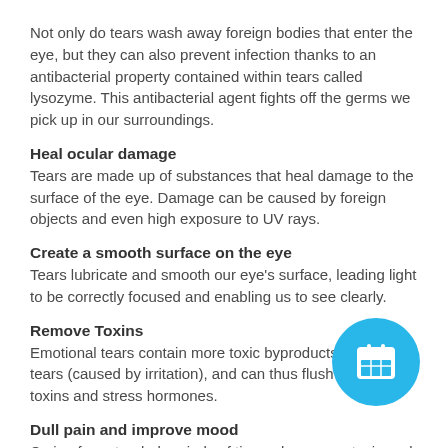Not only do tears wash away foreign bodies that enter the eye, but they can also prevent infection thanks to an antibacterial property contained within tears called lysozyme. This antibacterial agent fights off the germs we pick up in our surroundings.
Heal ocular damage
Tears are made up of substances that heal damage to the surface of the eye. Damage can be caused by foreign objects and even high exposure to UV rays.
Create a smooth surface on the eye
Tears lubricate and smooth our eye's surface, leading light to be correctly focused and enabling us to see clearly.
Remove Toxins
Emotional tears contain more toxic byproducts than reflex tears (caused by irritation), and can thus flush out many toxins and stress hormones.
Dull pain and improve mood
Crying for extended periods of time releases oxytocin and
[Figure (illustration): A circular cyan/light-blue button with a white calendar icon in the center, positioned in the lower right area of the page.]